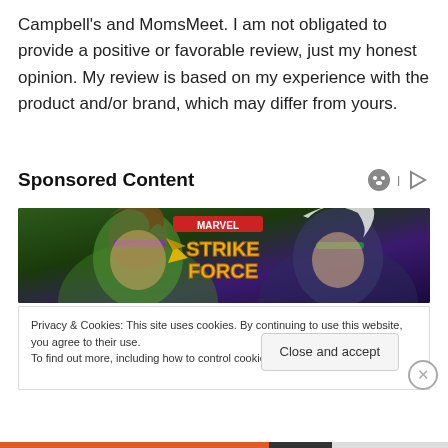Campbell's and MomsMeet.  I am not obligated to provide a positive or favorable review, just my honest opinion.  My review is based on my experience with the product and/or brand, which may differ from yours.
Sponsored Content
[Figure (illustration): Marvel Strike Force game advertisement banner showing two comic-style characters against a green and purple background with 'Marvel Strike Force' logo]
Privacy & Cookies: This site uses cookies. By continuing to use this website, you agree to their use.
To find out more, including how to control cookies, see here: Cookie Policy